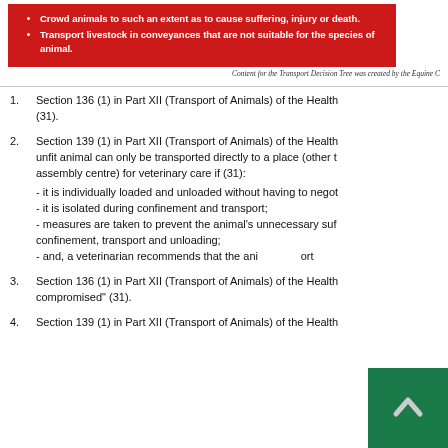[Figure (infographic): Red box with white bullet points about animal transport prohibitions]
Content for the Transport Decision Tree was created by the Equine C...
Section 136 (1) in Part XII (Transport of Animals) of the Health ... (31).
Section 139 (1) in Part XII (Transport of Animals) of the Health ... unfit animal can only be transported directly to a place (other than an assembly centre) for veterinary care if (31): - it is individually loaded and unloaded without having to negotiate...; - it is isolated during confinement and transport; - measures are taken to prevent the animal's unnecessary suffering during confinement, transport and unloading; - and, a veterinarian recommends that the animal be transported...
Section 136 (1) in Part XII (Transport of Animals) of the Health ... compromised" (31).
Section 139 (1) in Part XII (Transport of Animals) of the Health ...